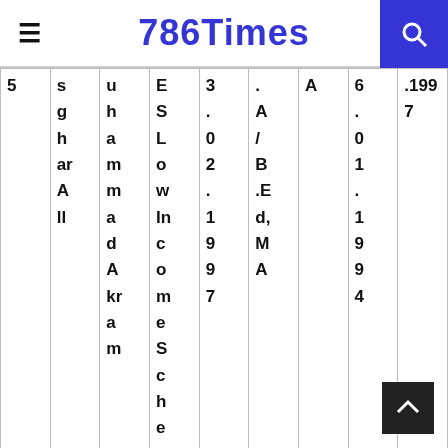786Times
| 5 | sghArll | uhamm
adAkram | ESLow
Income
Scheme | 3.0
2.1
9
9
7 | ./A/B.Ed,
MA | A | 6.0
1.1
9
9
4 | .1997 |